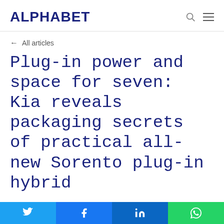ALPHABET
← All articles
Plug-in power and space for seven: Kia reveals packaging secrets of practical all-new Sorento plug-in hybrid
posted on 2020-11-04T20:33:33